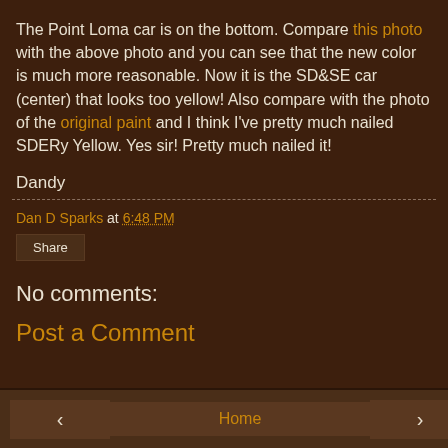The Point Loma car is on the bottom. Compare this photo with the above photo and you can see that the new color is much more reasonable. Now it is the SD&SE car (center) that looks too yellow! Also compare with the photo of the original paint and I think I've pretty much nailed SDERy Yellow. Yes sir! Pretty much nailed it!
Dandy
Dan D Sparks at 6:48 PM
Share
No comments:
Post a Comment
< Home >